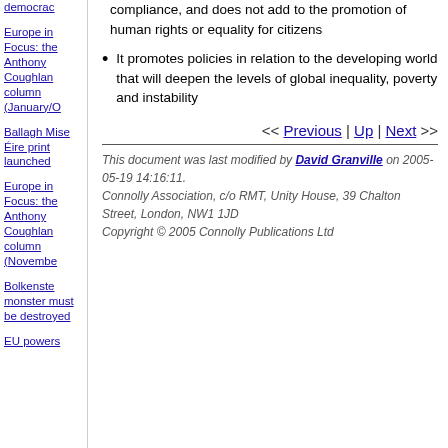democrac (sidebar link)
Europe in Focus: the Anthony Coughlan column (January/O (sidebar link)
Ballagh Mise Éire print launched (sidebar link)
Europe in Focus: the Anthony Coughlan column (Novembe (sidebar link)
Bolkenste monster must be destroyed (sidebar link)
EU powers (sidebar link)
compliance, and does not add to the promotion of human rights or equality for citizens
It promotes policies in relation to the developing world that will deepen the levels of global inequality, poverty and instability
<< Previous | Up | Next >>
This document was last modified by David Granville on 2005-05-19 14:16:11. Connolly Association, c/o RMT, Unity House, 39 Chalton Street, London, NW1 1JD Copyright © 2005 Connolly Publications Ltd